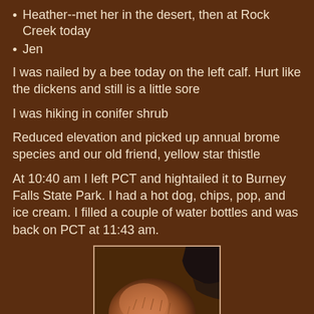Heather--met her in the desert, then at Rock Creek today
Jen
I was nailed by a bee today on the left calf.  Hurt like the dickens and still is a little sore
I was hiking in conifer shrub
Reduced elevation and picked up annual brome species and our old friend, yellow star thistle
At 10:40 am I left PCT and hightailed it to Burney Falls State Park.  I had a hot dog, chips, pop, and ice cream.  I filled a couple of water bottles and was back on PCT at 11:43 am.
[Figure (photo): Photo of a leg/calf showing a bee sting area, with hairy skin visible and some dark clothing or gear in the background upper right corner.]